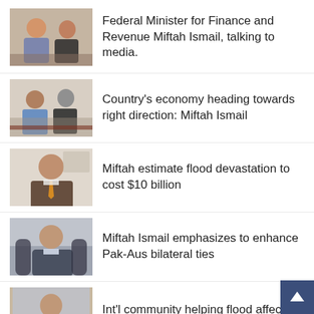[Figure (photo): Photo of Federal Minister for Finance and Revenue Miftah Ismail talking to media]
Federal Minister for Finance and Revenue Miftah Ismail, talking to media.
[Figure (photo): Photo of Miftah Ismail at a meeting]
Country's economy heading towards right direction: Miftah Ismail
[Figure (photo): Photo of Miftah Ismail speaking]
Miftah estimate flood devastation to cost $10 billion
[Figure (photo): Photo of Miftah Ismail at desk]
Miftah Ismail emphasizes to enhance Pak-Aus bilateral ties
[Figure (photo): Photo of Miftah Ismail]
Int'l community helping flood affected people of Pakistan: Miftah